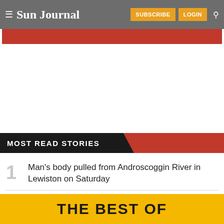Sun Journal — SUBSCRIBE | LOGIN
MOST READ STORIES
Man's body pulled from Androscoggin River in Lewiston on Saturday
THE BEST OF